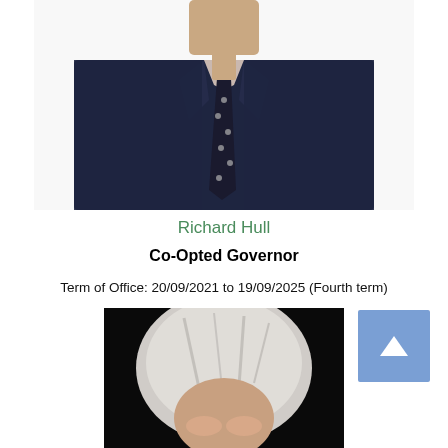[Figure (photo): Upper body photo of a man in a dark navy suit with a black polka-dot tie and light pink shirt, white background, head cropped at top]
Richard Hull
Co-Opted Governor
Term of Office: 20/09/2021 to 19/09/2025 (Fourth term)
[Figure (photo): Partial photo of a person with light/white hair, dark background, head partially visible from top]